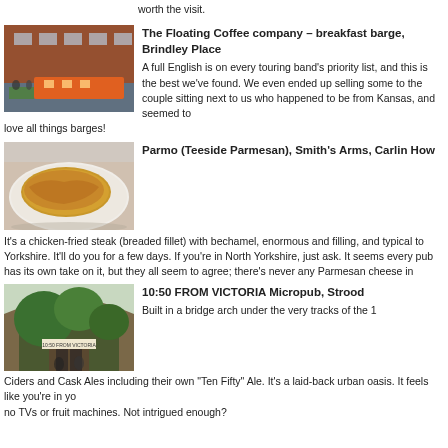worth the visit.
[Figure (photo): A narrow boat/barge moored at a canal with green outdoor seating, brick building in background, Brindley Place]
The Floating Coffee company – breakfast barge, Brindley Place
A full English is on every touring band's priority list, and this is the best we've found. We even ended up selling some to the couple sitting next to us who happened to be from Kansas, and seemed to love all things barges!
[Figure (photo): A plate with a Parmo (breaded chicken fillet with bechamel sauce, browned on top) on a white plate]
Parmo (Teeside Parmesan), Smith's Arms, Carlin How
It's a chicken-fried steak (breaded fillet) with bechamel, enormous and filling, and typical to Yorkshire. It'll do you for a few days. If you're in North Yorkshire, just ask. It seems every pub has its own take on it, but they all seem to agree; there's never any Parmesan cheese in it.
[Figure (photo): Exterior of 10:50 FROM VICTORIA Micropub in Strood, inside a brick bridge arch, green trees visible]
10:50 FROM VICTORIA Micropub, Strood
Built in a bridge arch under the very tracks of the 10:50 to Victoria, they serve Real Ciders and Cask Ales including their own "Ten Fifty" Ale. It's a laid-back urban oasis. It feels like you're in your own front room, no TVs or fruit machines. Not intrigued enough?